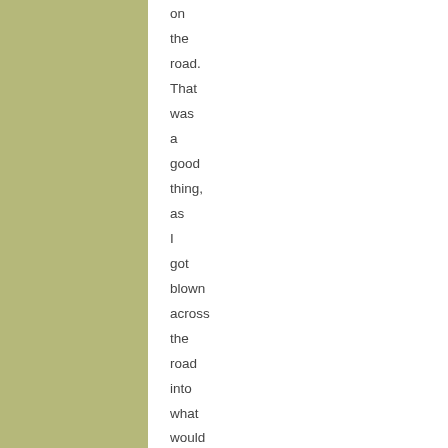on the road. That was a good thing, as I got blown across the road into what would have been oncoming traffic